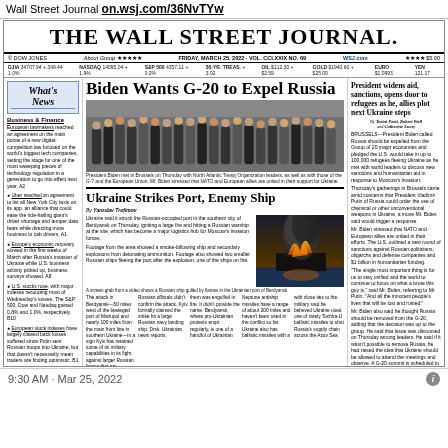Wall Street Journal on.wsj.com/36NvTYw
THE WALL STREET JOURNAL.
FRIDAY, MARCH 25, 2022 · VOL. CCLXXIX NO. 69   WSJ.com   ★★★★ $5.00
DJA 34707.94 + 349.44 1.0%  NASDAQ 14095.04 + 1.9%  S&P 500 4357.11 + 0.2%  30-YR. TREAS. + 3.02  OIL $112.30 + $2.59  GOLD $1940.60 + $25.00  EURO $1.0993  YEN 121.17
What's News
Business & Finance
European lawmakers reached an agreement on the main points of a new digital-competition law focused on the world's biggest tech companies, setting the stage for one of the most sweeping pieces of technology regulation in a generation to go into effect next year.
Uber reached an agreement to list all New York City taxis on its app, an alliance that could ease the ride-hailing giant's driver shortage and temper data fears while directing more business to cab drivers.
Europe's economic recovery slowed in the first weeks of March after Russia's invasion of Ukraine while U.S. business activity picked up, business surveys showed.
U.S. stocks rose, with major indexes recouping most of Wednesday's losses. The S&P 500, Dow and Nasdaq gained 0.8% and 1.0%, respectively.
European stock indexes have largely clawed back losses suffered since Putin sent Russian troops into Ukraine, but that doesn't necessarily mean traders are feeling optimistic.
Fewer Americans are buying new vehicles because of higher prices and scarcity on dealer lots, a dynamic that could crimp the supply of used vehicles and renowned buyers in the coming years.
Credit Suisse is reported to pay around $500 million after losing a lawsuit brought by a billionaire who claimed the bank mismanaged his money.
Biden Wants G-20 to Expel Russia
[Figure (photo): Group photo of President Biden with NATO leaders and G-7 and European Union leaders in Brussels]
President Biden met in Brussels on Thursday with North Atlantic Treaty Organization leaders, as well as with those of the G-7 and the European Union. Mr. Biden stressed that NATO and European allies are united in their support for Ukraine.
Ukraine Strikes Port, Enemy Ship
By Yaroslav Trofimov
Ukraine said it struck the Russian-occupied port in the southern city of Berdyansk on Thursday, igniting a large fire and hitting a Russian warship at the site, which has become a major logistics hub for Moscow's invasion forces.
[Figure (photo): A screen grab from a video shows a Russian ship engulfed by flames in the Ukrainian port of Berdyansk]
A screen grab from a video shows a Russian ship gulled by flames in the Ukrainian port of Berdyansk.
President widens aid, sanctions, opens door to refugees as he, allies plot next Ukraine steps
BRUSSELS—President Biden called Russia should be expelled from the Group of 20 major economies and pledged the U.S. would take in up to 100,000 refugees fleeing Ukraine as he met with world leaders to discuss new sanctions and humanitarian aid in response to Moscow's invasion.
By Tarini Parti, Robert Wall and Catherine Lucey
Thursday's gatherings in Brussels came amid concerns that President Vladimir Putin of Russia could order the use of chemical or other unconventional weapons in Ukraine, a move Mr. Biden said would trigger a response.
[Figure (other): The Ukraine Crisis red box label]
9:30 AM · Mar 25, 2022